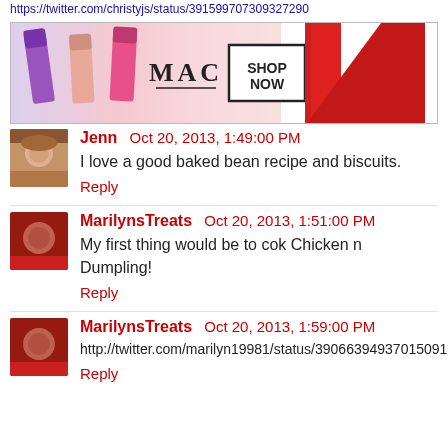https://twitter.com/christyjs/status/391599707309327290
[Figure (photo): MAC cosmetics advertisement banner showing colorful lipsticks (purple, peach, pink) and a red lipstick, MAC logo, and a SHOP NOW button]
Jenn  Oct 20, 2013, 1:49:00 PM
I love a good baked bean recipe and biscuits.
Reply
MarilynsTreats  Oct 20, 2013, 1:51:00 PM
My first thing would be to cok Chicken n Dumpling!
Reply
MarilynsTreats  Oct 20, 2013, 1:59:00 PM
http://twitter.com/marilyn19981/status/390663949370150913
Reply